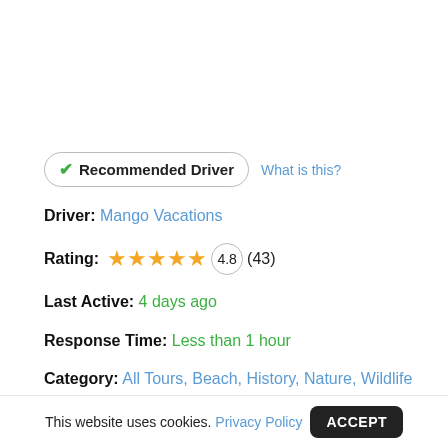✔ Recommended Driver   What is this?
Driver: Mango Vacations
Rating: ★★★★★ 4.8 (43)
Last Active: 4 days ago
Response Time: Less than 1 hour
Category: All Tours, Beach, History, Nature, Wildlife
Areas: Cultural Triangle, Hill Country, South Coast, West Coast
This website uses cookies. Privacy Policy  ACCEPT